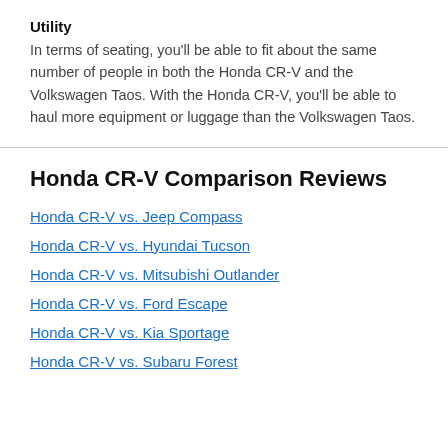Utility
In terms of seating, you'll be able to fit about the same number of people in both the Honda CR-V and the Volkswagen Taos. With the Honda CR-V, you'll be able to haul more equipment or luggage than the Volkswagen Taos.
Honda CR-V Comparison Reviews
Honda CR-V vs. Jeep Compass
Honda CR-V vs. Hyundai Tucson
Honda CR-V vs. Mitsubishi Outlander
Honda CR-V vs. Ford Escape
Honda CR-V vs. Kia Sportage
Honda CR-V vs. Subaru Forester